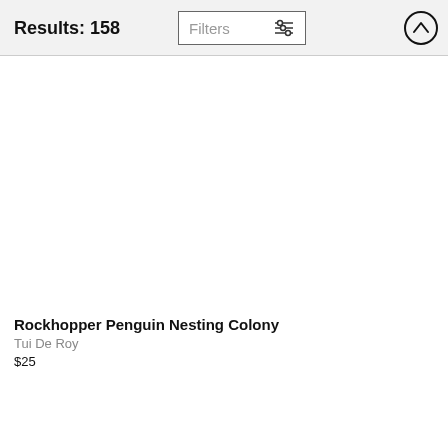Results: 158
Filters
Rockhopper Penguin Nesting Colony
Tui De Roy
$25